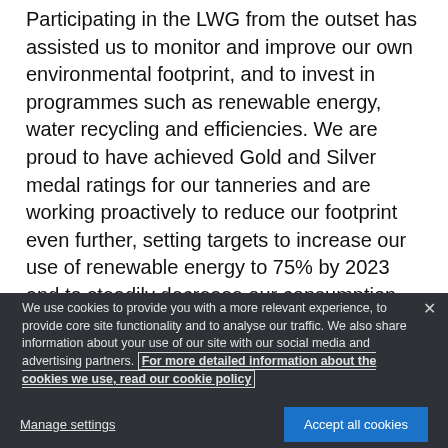Participating in the LWG from the outset has assisted us to monitor and improve our own environmental footprint, and to invest in programmes such as renewable energy, water recycling and efficiencies. We are proud to have achieved Gold and Silver medal ratings for our tanneries and are working proactively to reduce our footprint even further, setting targets to increase our use of renewable energy to 75% by 2023 and to steadily decrease our consumption per square foot of leather manufactured by 15% for energy and 30%
We use cookies to provide you with a more relevant experience, to provide core site functionality and to analyse our traffic. We also share information about your use of our site with our social media and advertising partners. For more detailed information about the cookies we use, read our cookie policy
Manage settings
Accept all cookies